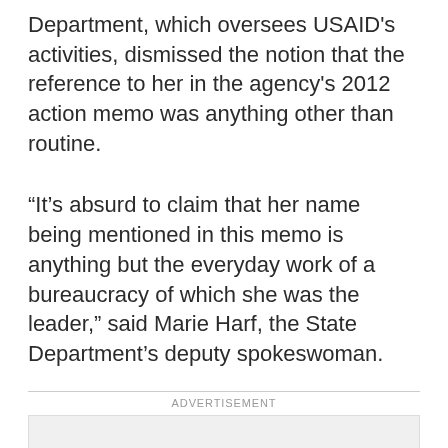Department, which oversees USAID's activities, dismissed the notion that the reference to her in the agency's 2012 action memo was anything other than routine.
“It’s absurd to claim that her name being mentioned in this memo is anything but the everyday work of a bureaucracy of which she was the leader,” said Marie Harf, the State Department’s deputy spokeswoman.
ADVERTISEMENT
[Figure (other): Advertisement placeholder box with an Ad button]